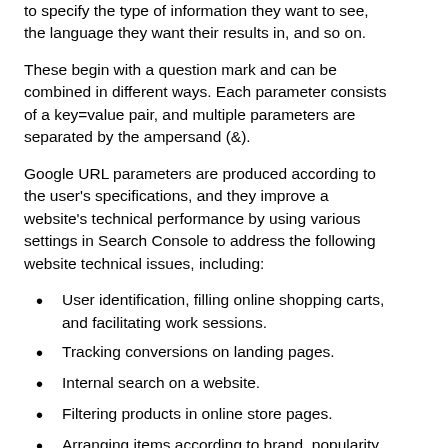to specify the type of information they want to see, the language they want their results in, and so on.
These begin with a question mark and can be combined in different ways. Each parameter consists of a key=value pair, and multiple parameters are separated by the ampersand (&).
Google URL parameters are produced according to the user's specifications, and they improve a website's technical performance by using various settings in Search Console to address the following website technical issues, including:
User identification, filling online shopping carts, and facilitating work sessions.
Tracking conversions on landing pages.
Internal search on a website.
Filtering products in online store pages.
Arranging items according to brand, popularity, or price.
Multi-page content and directories pagination.
Presenting various versions of a page, based on the